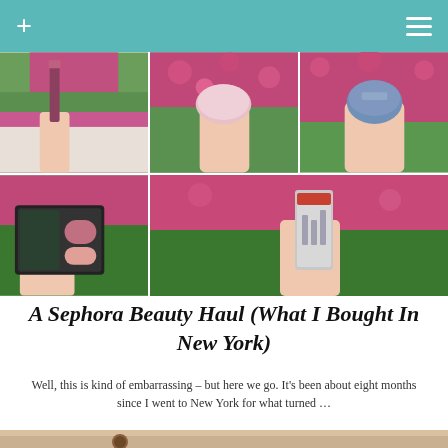+ ☰
[Figure (photo): 2x3 grid of beauty product photos held against pink flowering bush background: lipstick, lip balm pot, small blue jar, makeup palette, mascara/highlighter product. Hands with red nail polish holding items.]
A Sephora Beauty Haul (What I Bought In New York)
Well, this is kind of embarrassing – but here we go. It's been about eight months since I went to New York for what turned …
[Figure (photo): Partial photo at bottom of page showing coffee/tea and wooden table surface.]